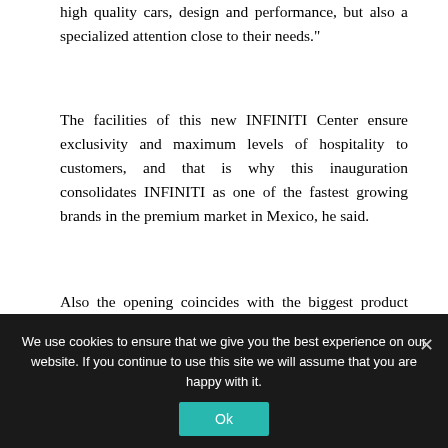high quality cars, design and performance, but also a specialized attention close to their needs."
The facilities of this new INFINITI Center ensure exclusivity and maximum levels of hospitality to customers, and that is why this inauguration consolidates INFINITI as one of the fastest growing brands in the premium market in Mexico, he said.
Also the opening coincides with the biggest product sales strategy in the country's history that included the arrival in the last
We use cookies to ensure that we give you the best experience on our website. If you continue to use this site we will assume that you are happy with it.